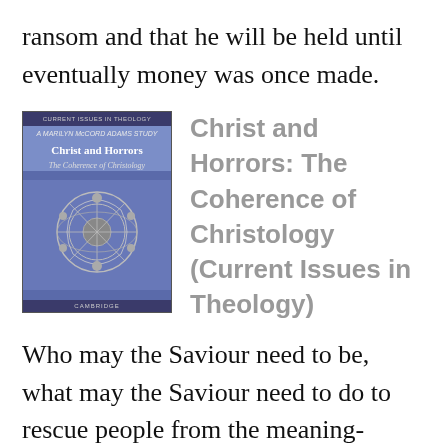ransom and that he will be held until eventually money was once made.
[Figure (illustration): Book cover for 'Christ and Horrors: The Coherence of Christology (Current Issues in Theology)' showing a blue cover with a stained glass image.]
Christ and Horrors: The Coherence of Christology (Current Issues in Theology)
Who may the Saviour need to be, what may the Saviour need to do to rescue people from the meaning-destroying studies in their lives? This booklet deals a scientific Christology that's right away biblical and philosophical. beginning with human radical vulnerability to horrors comparable to everlasting soreness, sadistic abuse or